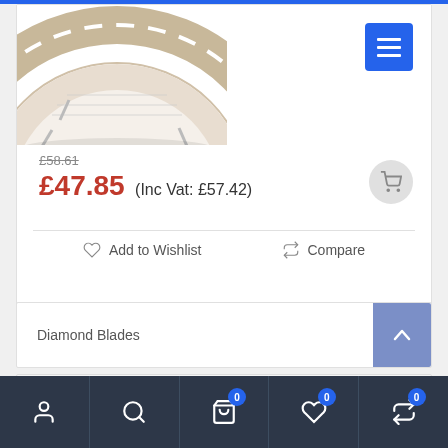[Figure (photo): Partial view of a diamond cutting blade/disc, circular with segmented rim, shown from above against white background]
[Figure (screenshot): Blue square menu button with three horizontal white lines (hamburger icon)]
£58.61
£47.85 (Inc Vat: £57.42)
[Figure (illustration): Grey circular add-to-cart button with shopping cart icon]
Add to Wishlist
Compare
Diamond Blades
Search products
[Figure (illustration): Bottom navigation bar with account, search, cart (0), wishlist (0), and compare (0) icons on dark background]